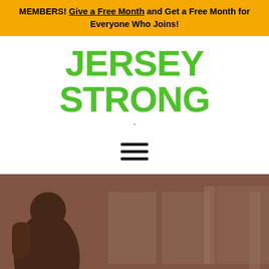MEMBERS! Give a Free Month and Get a Free Month for Everyone Who Joins!
[Figure (logo): Jersey Strong logo in bold green text]
[Figure (infographic): Hamburger/menu icon with three horizontal lines]
[Figure (photo): Hero image showing a gym scene with person silhouette on left, reddish-brown overlay, and partial text 'The Best' at bottom]
The Best